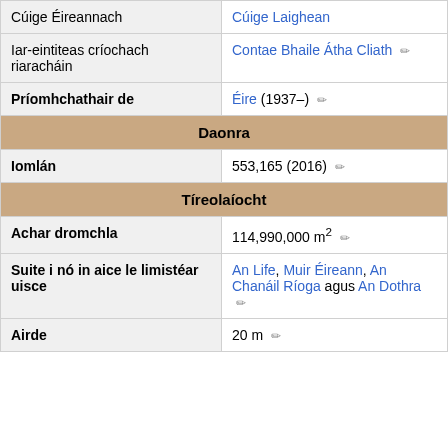| Cúige Éireannach | Cúige Laighean |
| Iar-eintiteas críochach riaracháin | Contae Bhaile Átha Cliath ✏ |
| Príomhchathair de | Éire (1937–) ✏ |
| Daonra |  |
| Iomlán | 553,165 (2016) ✏ |
| Tíreolaíocht |  |
| Achar dromchla | 114,990,000 m² ✏ |
| Suite i nó in aice le limistéar uisce | An Life, Muir Éireann, An Chanáil Ríoga agus An Dothra ✏ |
| Airde | 20 m ✏ |